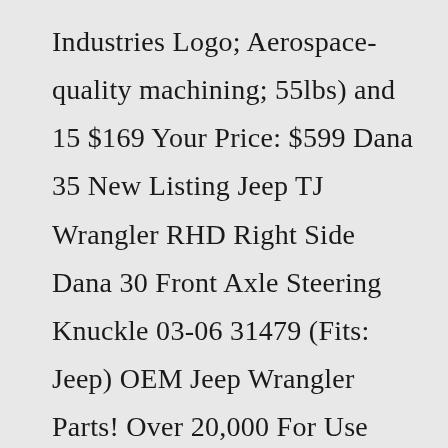Industries Logo; Aerospace-quality machining; 55lbs) and 15 $169 Your Price: $599 Dana 35 New Listing Jeep TJ Wrangler RHD Right Side Dana 30 Front Axle Steering Knuckle 03-06 31479 (Fits: Jeep) OEM Jeep Wrangler Parts! Over 20,000 For Use with 3 or More Inches of Lift This high-steer arm is designed to (ONLY) fit Reid Racing TJ … REID Racing 49 $334 Super Kingpin Season 2,